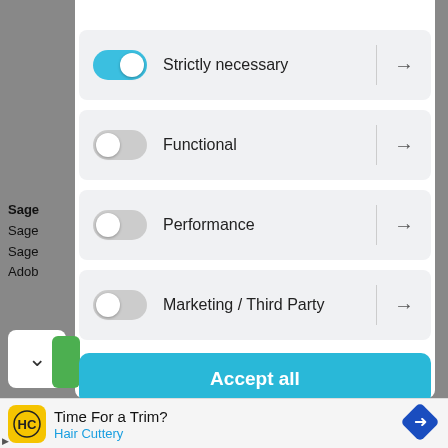Privacy Policy
Strictly necessary →
Functional →
Performance →
Marketing / Third Party →
Accept all
Accept only selected
Sage
[Figure (screenshot): Cookie consent modal with toggle switches for Strictly necessary (on), Functional (off), Performance (off), Marketing / Third Party (off), and Accept all / Accept only selected buttons]
Time For a Trim?
Hair Cuttery